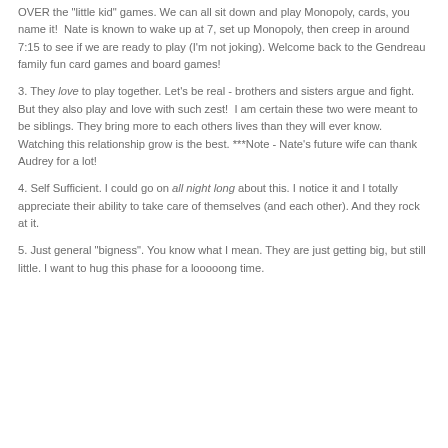OVER the "little kid" games. We can all sit down and play Monopoly, cards, you name it!  Nate is known to wake up at 7, set up Monopoly, then creep in around 7:15 to see if we are ready to play (I'm not joking). Welcome back to the Gendreau family fun card games and board games!
3. They love to play together. Let's be real - brothers and sisters argue and fight. But they also play and love with such zest!  I am certain these two were meant to be siblings. They bring more to each others lives than they will ever know. Watching this relationship grow is the best. ***Note - Nate's future wife can thank Audrey for a lot!
4. Self Sufficient. I could go on all night long about this. I notice it and I totally appreciate their ability to take care of themselves (and each other). And they rock at it.
5. Just general "bigness". You know what I mean. They are just getting big, but still little. I want to hug this phase for a looooong time.